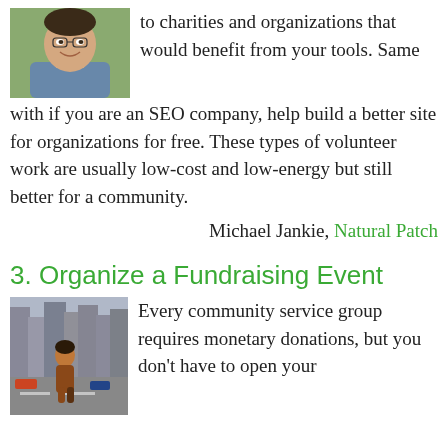[Figure (photo): Headshot of a smiling man, partially cropped, with a blurred background]
to charities and organizations that would benefit from your tools. Same with if you are an SEO company, help build a better site for organizations for free. These types of volunteer work are usually low-cost and low-energy but still better for a community.
Michael Jankie, Natural Patch
3. Organize a Fundraising Event
[Figure (photo): A young woman standing on a busy city street with tall buildings in the background]
Every community service group requires monetary donations, but you don't have to open your own pocketbook here. You can also